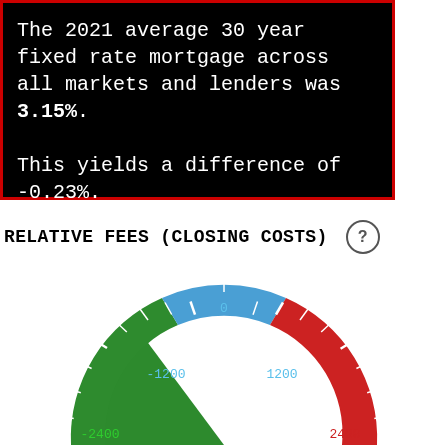The 2021 average 30 year fixed rate mortgage across all markets and lenders was 3.15%. This yields a difference of -0.23%.
RELATIVE FEES (CLOSING COSTS)
[Figure (other): A semicircular gauge/speedometer showing relative fees (closing costs). The gauge has three color zones: green on the left (negative/cheaper), blue in the middle (neutral, around 0), and red on the right (positive/more expensive). Tick marks are visible. Labels on the gauge read: -2400, -1200, 0, 1200, 2400. The needle position is not fully visible as the bottom is cropped.]